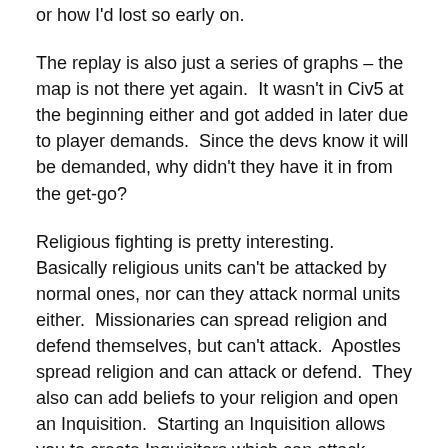or how I'd lost so early on.
The replay is also just a series of graphs – the map is not there yet again.  It wasn't in Civ5 at the beginning either and got added in later due to player demands.  Since the devs know it will be demanded, why didn't they have it in from the get-go?
Religious fighting is pretty interesting.  Basically religious units can't be attacked by normal ones, nor can they attack normal units either.  Missionaries can spread religion and defend themselves, but can't attack.  Apostles spread religion and can attack or defend.  They also can add beliefs to your religion and open an Inquisition.  Starting an Inquisition allows you to create Inquisitors which can attack Apostles and Missionaries, as well as remove opposing religious views from your cities.  They toss lightning around at each other when they fight, so it's